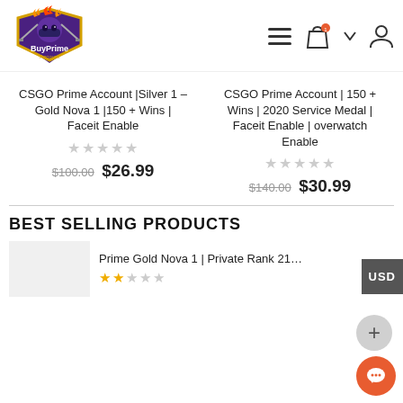[Figure (logo): BuyPrime Account logo: purple ninja character with shield, flames on top, text 'BuyPrime' and 'Account']
[Figure (infographic): Header navigation icons: hamburger menu, shopping bag with orange badge, dropdown arrow, user/account icon]
CSGO Prime Account |Silver 1 – Gold Nova 1 |150 + Wins | Faceit Enable
★★★★★ (empty stars)
$100.00 $26.99
CSGO Prime Account | 150 + Wins | 2020 Service Medal | Faceit Enable | overwatch Enable
★★★★★ (empty stars)
$140.00 $30.99
USD
BEST SELLING PRODUCTS
Prime Gold Nova 1 | Private Rank 21+ | FACEIT R
★★★★★ (2 filled stars)